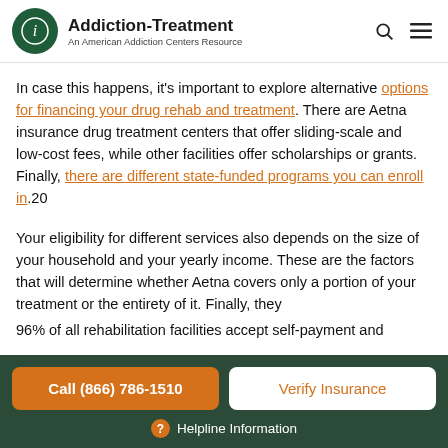Addiction-Treatment — An American Addiction Centers Resource
In case this happens, it's important to explore alternative options for financing your drug rehab and treatment. There are Aetna insurance drug treatment centers that offer sliding-scale and low-cost fees, while other facilities offer scholarships or grants. Finally, there are different state-funded programs you can enroll in.20
Your eligibility for different services also depends on the size of your household and your yearly income. These are the factors that will determine whether Aetna covers only a portion of your treatment or the entirety of it. Finally, they
96% of all rehabilitation facilities accept self-payment and